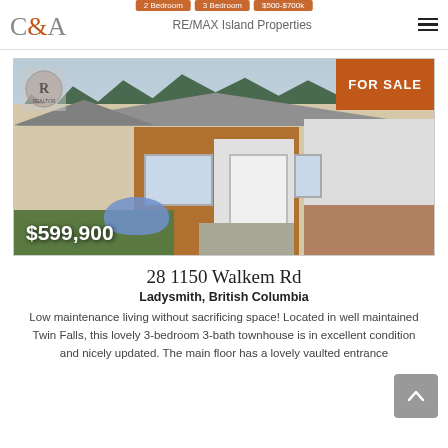C&A | RE/MAX Island Properties
[Figure (photo): Exterior photo of a 3-bedroom 3-bath townhouse at 28 1150 Walkem Rd, Ladysmith BC. Shows front entrance with wood-paneled facade, white front door, hydrangea bushes, lawn, and concrete walkway. Orange 'FOR SALE' badge in top-right corner. Price overlay '$599,900' in bottom-left.]
28 1150 Walkem Rd
Ladysmith, British Columbia
Low maintenance living without sacrificing space! Located in well maintained Twin Falls, this lovely 3-bedroom 3-bath townhouse is in excellent condition and nicely updated. The main floor has a lovely vaulted entrance